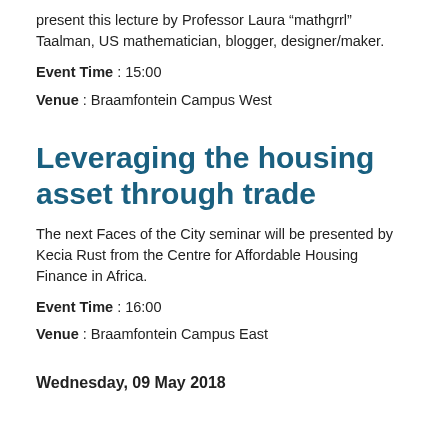present this lecture by Professor Laura “mathgrrl” Taalman, US mathematician, blogger, designer/maker.
Event Time : 15:00
Venue : Braamfontein Campus West
Leveraging the housing asset through trade
The next Faces of the City seminar will be presented by Kecia Rust from the Centre for Affordable Housing Finance in Africa.
Event Time : 16:00
Venue : Braamfontein Campus East
Wednesday, 09 May 2018